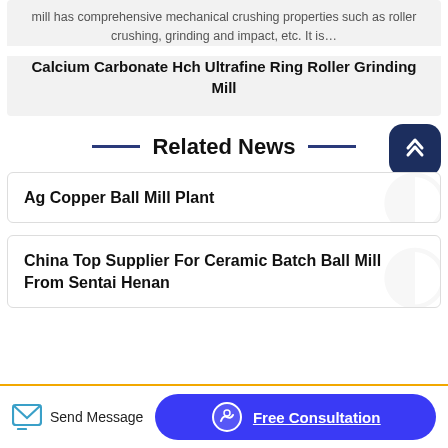mill has comprehensive mechanical crushing properties such as roller crushing, grinding and impact, etc. It is…
Calcium Carbonate Hch Ultrafine Ring Roller Grinding Mill
Related News
Ag Copper Ball Mill Plant
China Top Supplier For Ceramic Batch Ball Mill From Sentai Henan